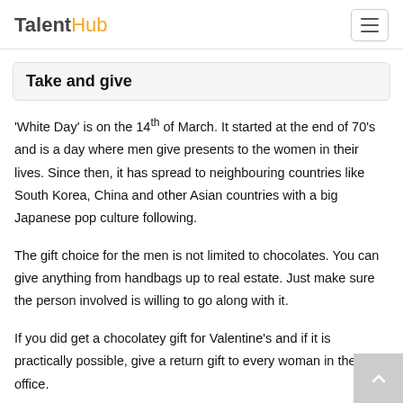TalentHub
Take and give
'White Day' is on the 14th of March. It started at the end of 70's and is a day where men give presents to the women in their lives. Since then, it has spread to neighbouring countries like South Korea, China and other Asian countries with a big Japanese pop culture following.
The gift choice for the men is not limited to chocolates. You can give anything from handbags up to real estate. Just make sure the person involved is willing to go along with it.
If you did get a chocolatey gift for Valentine's and if it is practically possible, give a return gift to every woman in the office.